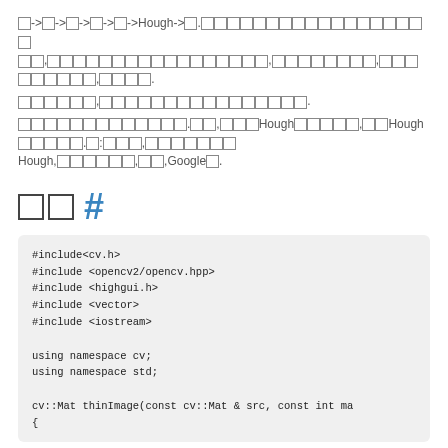□->□->□->□->□->Hough->□.□□□□□□□□□□□□□□□□□□□□□□,□□□□□□□□□□□□□□□□□□□,□□□□□□□□,□□□□□□□□□,□□□□.
□□□□□□,□□□□□□□□□□□□□□□□.
□□□□□□□□□□□□□.□□,□□□Hough□□□□□,□□Hough□□□□□.□:□□□,□□□□□□□□Hough,□□□□□□,□□,Google□.
□□  #
#include<cv.h>
#include <opencv2/opencv.hpp>
#include <highgui.h>
#include <vector>
#include <iostream>

using namespace cv;
using namespace std;

cv::Mat thinImage(const cv::Mat & src, const int ma
{